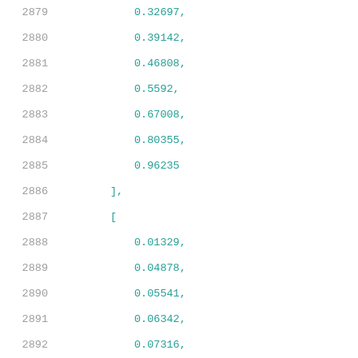Code listing lines 2879-2900 showing numeric array values
2879    0.32697,
2880    0.39142,
2881    0.46808,
2882    0.5592,
2883    0.67008,
2884    0.80355,
2885    0.96235
2886    ],
2887    [
2888    0.01329,
2889    0.04878,
2890    0.05541,
2891    0.06342,
2892    0.07316,
2893    0.08488,
2894    0.09909,
2895    0.11632,
2896    0.13711,
2897    0.16244,
2898    0.19301,
2899    0.22974,
2900    0.27398,